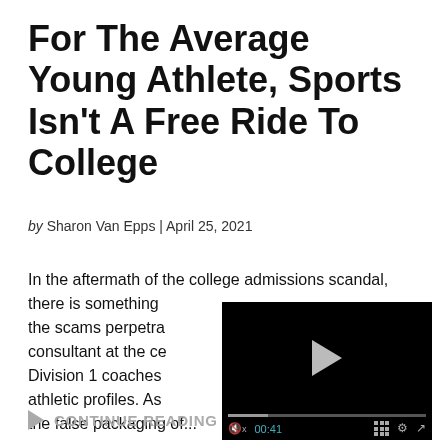For The Average Young Athlete, Sports Isn't A Free Ride To College
by Sharon Van Epps | April 25, 2021
In the aftermath of the college admissions scandal, there is something the scams perpetra consultant at the ce Division 1 coaches athletic profiles. As the false packaging of...
[Figure (screenshot): Embedded video player with black background, play button, progress bar showing 00:41, and playback controls]
CONTINUE READING